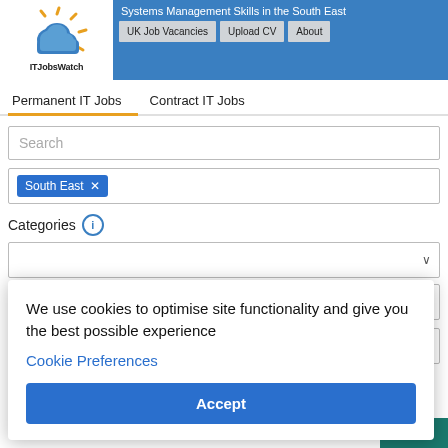ITJobsWatch — Systems Management Skills in the South East
[Figure (logo): ITJobsWatch cloud logo with sun rays, blue cloud icon with orange rays, text 'ITJobsWatch' below]
UK Job Vacancies | Upload CV | About
Permanent IT Jobs | Contract IT Jobs
Search
South East ×
Categories ℹ
We use cookies to optimise site functionality and give you the best possible experience
Cookie Preferences
Accept